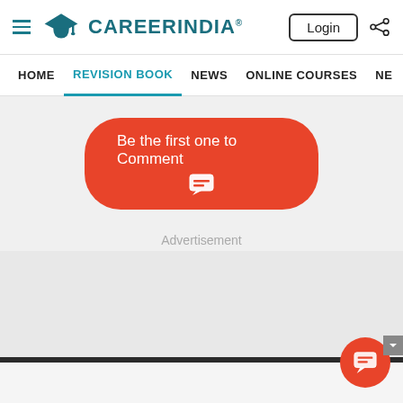CareerIndia
HOME | REVISION BOOK | NEWS | ONLINE COURSES | NE
[Figure (screenshot): Orange rounded button with text 'Be the first one to Comment' and chat icon below it]
Advertisement
[Figure (other): Orange circular FAB button with chat/comment icon at bottom right]